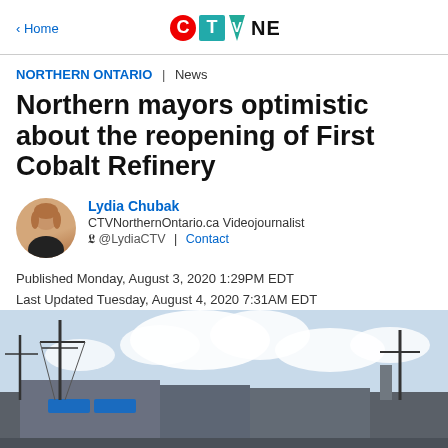< Home | CTV News
NORTHERN ONTARIO | News
Northern mayors optimistic about the reopening of First Cobalt Refinery
Lydia Chubak
CTVNorthernOntario.ca Videojournalist
@LydiaCTV | Contact
Published Monday, August 3, 2020 1:29PM EDT
Last Updated Tuesday, August 4, 2020 7:31AM EDT
[Figure (photo): Exterior photo of First Cobalt Refinery building with utility poles and partly cloudy sky in background]